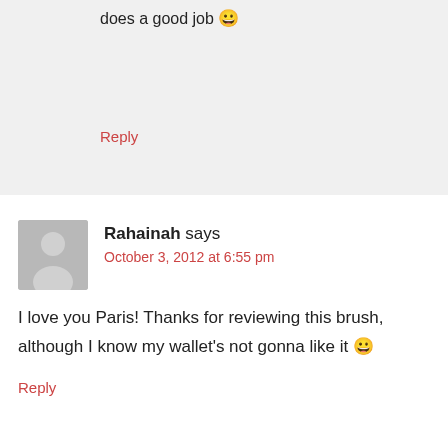does a good job 😀
Reply
Rahainah says
October 3, 2012 at 6:55 pm
I love you Paris! Thanks for reviewing this brush, although I know my wallet's not gonna like it 😀
Reply